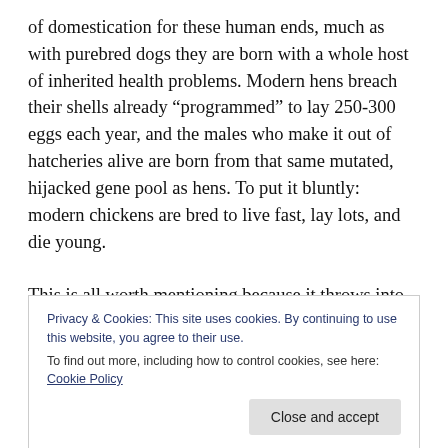of domestication for these human ends, much as with purebred dogs they are born with a whole host of inherited health problems. Modern hens breach their shells already “programmed” to lay 250-300 eggs each year, and the males who make it out of hatcheries alive are born from that same mutated, hijacked gene pool as hens. To put it bluntly: modern chickens are bred to live fast, lay lots, and die young.

This is all worth mentioning because it throws into relief the sickness, attempts at treatment, and death of Orion the rooster, and so many chickens like
Privacy & Cookies: This site uses cookies. By continuing to use this website, you agree to their use.
To find out more, including how to control cookies, see here: Cookie Policy
given a reasonable diagnosis, a treatment plan, and